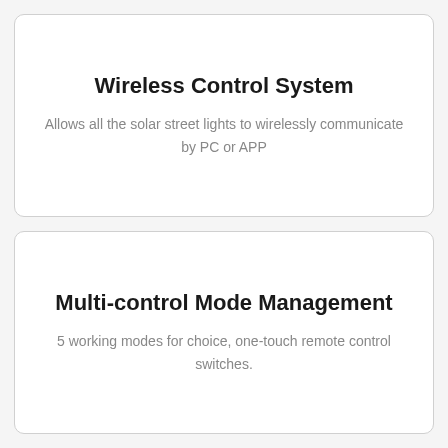Wireless Control System
Allows all the solar street lights to wirelessly communicate by PC or APP
Multi-control Mode Management
5 working modes for choice, one-touch remote control switches.